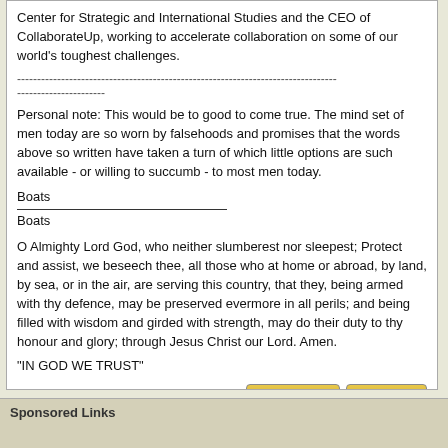Center for Strategic and International Studies and the CEO of CollaborateUp, working to accelerate collaboration on some of our world's toughest challenges.
--------------------------------------------------------------------------------
----------------------
Personal note: This would be to good to come true. The mind set of men today are so worn by falsehoods and promises that the words above so written have taken a turn of which little options are such available - or willing to succumb - to most men today.
Boats
Boats
O Almighty Lord God, who neither slumberest nor sleepest; Protect and assist, we beseech thee, all those who at home or abroad, by land, by sea, or in the air, are serving this country, that they, being armed with thy defence, may be preserved evermore in all perils; and being filled with wisdom and girded with strength, may do their duty to thy honour and glory; through Jesus Christ our Lord. Amen.
"IN GOD WE TRUST"
[Figure (screenshot): SendPM and Quote buttons at bottom right of post]
Sponsored Links